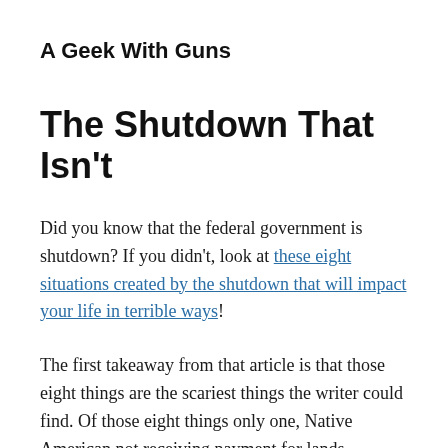A Geek With Guns
The Shutdown That Isn't
Did you know that the federal government is shutdown? If you didn't, look at these eight situations created by the shutdown that will impact your life in terrible ways!
The first takeaway from that article is that those eight things are the scariest things the writer could find. Of those eight things only one, Native American not receiving payment for lands “purchased” by the federal government decades ago, stands to impact anybody in any meaningful